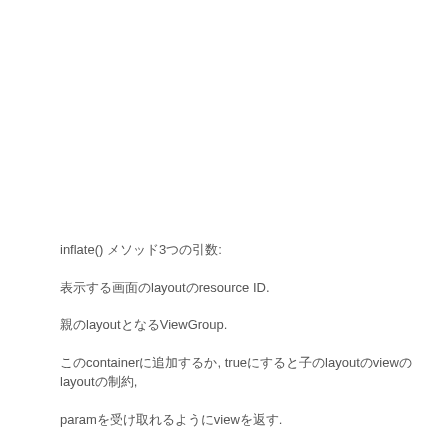inflate() メソッド3つの引数:
表示する画面のlayoutのresource ID.
親のlayoutとなるViewGroup.
このcontainerに追加するか, trueにすると子のlayoutのviewのlayoutの制約,
paramを受け取れるようにviewを返す.